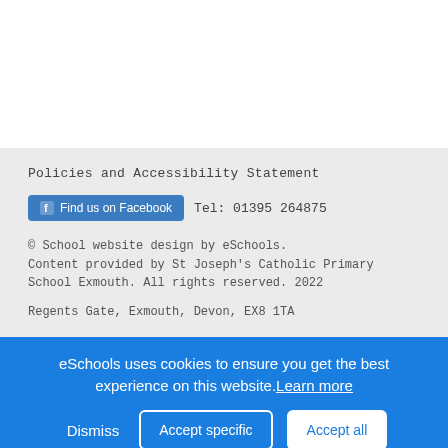Policies and Accessibility Statement
Find us on Facebook   Tel: 01395 264875
© School website design by eSchools. Content provided by St Joseph's Catholic Primary School Exmouth. All rights reserved. 2022
Regents Gate, Exmouth, Devon, EX8 1TA
eSchools uses cookies to ensure you get the best experience on this website. Learn more
Dismiss
Accept specific
Accept all